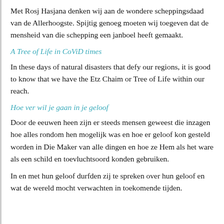Met Rosj Hasjana denken wij aan de wondere scheppingsdaad van de Allerhoogste. Spijtig genoeg moeten wij toegeven dat de mensheid van die schepping een janboel heeft gemaakt.
A Tree of Life in CoViD times
In these days of natural disasters that defy our regions, it is good to know that we have the Etz Chaim or Tree of Life within our reach.
Hoe ver wil je gaan in je geloof
Door de eeuwen heen zijn er steeds mensen geweest die inzagen hoe alles rondom hen mogelijk was en hoe er geloof kon gesteld worden in Die Maker van alle dingen en hoe ze Hem als het ware als een schild en toevluchtsoord konden gebruiken.
In en met hun geloof durfden zij te spreken over hun geloof en wat de wereld mocht verwachten in toekomende tijden.